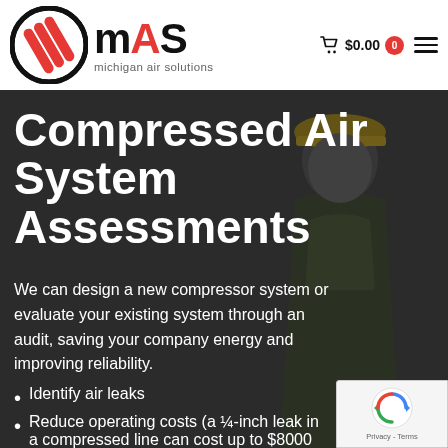[Figure (logo): MAS Michigan Air Solutions logo with circular icon containing red diagonal stripes and bold MAS text]
$0.00 0
[Figure (photo): Background photo of a worker wearing a yellow hard hat, shown in profile view, with dark overlay]
Compressed Air System Assessments
We can design a new compressor system or evaluate your existing system through an audit, saving your company energy and improving reliability.
Identify air leaks
Reduce operating costs (a ¼-inch leak in a compressed line can cost up to $8000 per year)